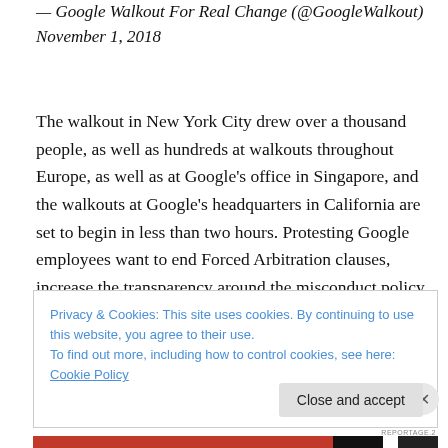— Google Walkout For Real Change (@GoogleWalkout) November 1, 2018
The walkout in New York City drew over a thousand people, as well as hundreds at walkouts throughout Europe, as well as at Google's office in Singapore, and the walkouts at Google's headquarters in California are set to begin in less than two hours. Protesting Google employees want to end Forced Arbitration clauses, increase the transparency around the misconduct policy and safety for women wanting to make a report of sexual
Privacy & Cookies: This site uses cookies. By continuing to use this website, you agree to their use. To find out more, including how to control cookies, see here: Cookie Policy